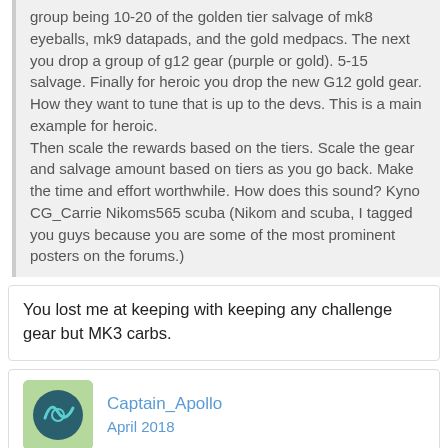group being 10-20 of the golden tier salvage of mk8 eyeballs, mk9 datapads, and the gold medpacs. The next you drop a group of g12 gear (purple or gold). 5-15 salvage. Finally for heroic you drop the new G12 gold gear. How they want to tune that is up to the devs. This is a main example for heroic.
Then scale the rewards based on the tiers. Scale the gear and salvage amount based on tiers as you go back. Make the time and effort worthwhile. How does this sound? Kyno CG_Carrie Nikoms565 scuba (Nikom and scuba, I tagged you guys because you are some of the most prominent posters on the forums.)
You lost me at keeping with keeping any challenge gear but MK3 carbs.
Captain_Apollo
April 2018